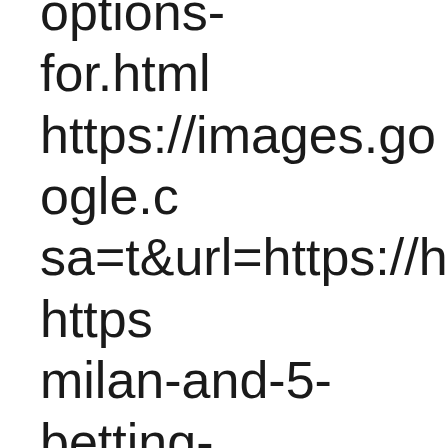options-for.html https://images.google.c sa=t&url=https://hhttps milan-and-5-betting-options-for.html https://images.google.c sa=t&url=https://hhttps milan-and-5-betting-